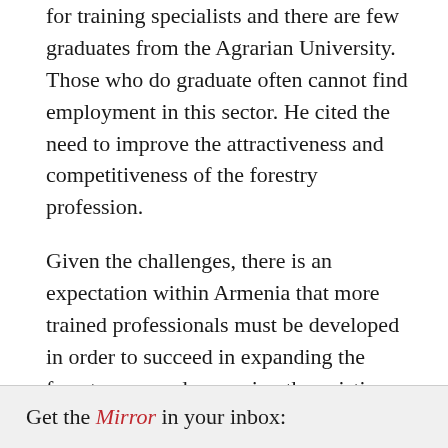for training specialists and there are few graduates from the Agrarian University. Those who do graduate often cannot find employment in this sector. He cited the need to improve the attractiveness and competitiveness of the forestry profession.
Given the challenges, there is an expectation within Armenia that more trained professionals must be developed in order to succeed in expanding the forest cover and managing the existing forests.
Get the Mirror in your inbox: